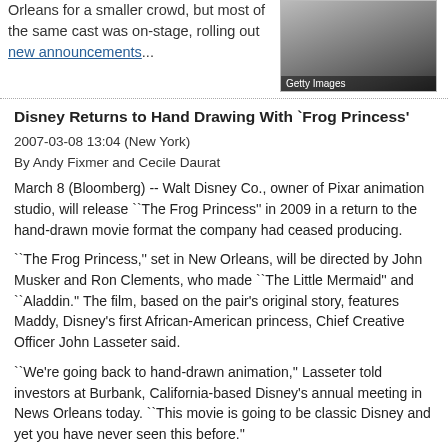Orleans for a smaller crowd, but most of the same cast was on-stage, rolling out new announcements...
[Figure (photo): Dark background photo with spotlight/light effect, captioned 'Getty Images']
Disney Returns to Hand Drawing With `Frog Princess'
2007-03-08 13:04 (New York)
By Andy Fixmer and Cecile Daurat
March 8 (Bloomberg) -- Walt Disney Co., owner of Pixar animation studio, will release ``The Frog Princess'' in 2009 in a return to the hand-drawn movie format the company had ceased producing.
``The Frog Princess,'' set in New Orleans, will be directed by John Musker and Ron Clements, who made ``The Little Mermaid'' and ``Aladdin.'' The film, based on the pair's original story, features Maddy, Disney's first African-American princess, Chief Creative Officer John Lasseter said.
``We're going back to hand-drawn animation,'' Lasseter told investors at Burbank, California-based Disney's annual meeting in News Orleans today. ``This movie is going to be classic Disney and yet you have never seen this before.''
The move is part of an effort by Lasseter, who joined Disney last May with the $8.06 billion purchase of Pixar, to focus Disney's Burbank-based animation unit on hand-drawn films. Disney had abandoned the format after 2004's ``Home on the Range'' flopped.